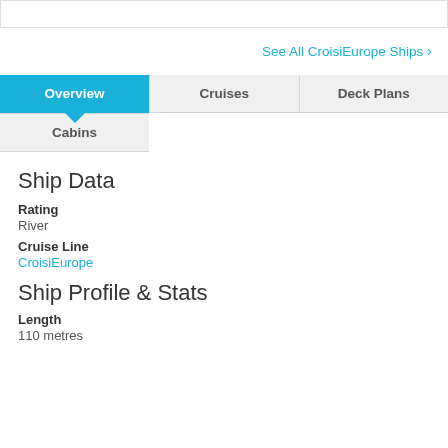See All CroisiEurope Ships >
Overview
Cruises
Deck Plans
Cabins
Ship Data
Rating
River
Cruise Line
CroisiEurope
Ship Profile & Stats
Length
110 metres